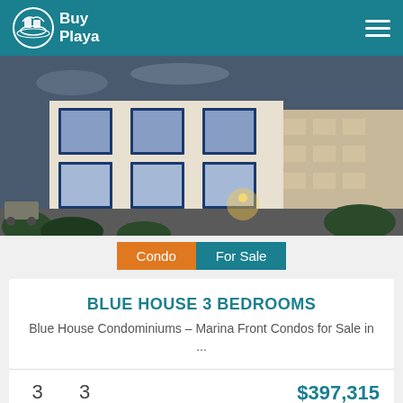Buy Playa
[Figure (photo): Exterior rendering of Blue House condominium building — modern multi-story structure with blue-framed windows, illuminated at dusk, with landscaping in foreground and another building visible to the right.]
Condo   For Sale
BLUE HOUSE 3 BEDROOMS
Blue House Condominiums – Marina Front Condos for Sale in ...
3 BEDS   3 BATHS   $397,315 USD
Puerto Aventuras
[Figure (photo): Partial view of a second property listing showing a warm-toned architectural exterior with palm trees.]